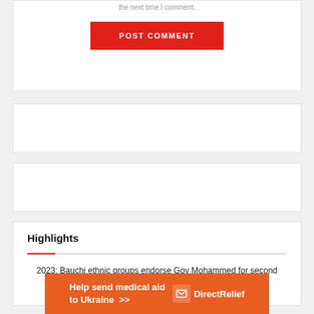the next time I comment.
POST COMMENT
[Figure (other): Empty white card placeholder (advertisement or widget)]
[Figure (other): Empty white card placeholder (advertisement or widget)]
Highlights
2023: Bauchi ethnic groups endorse Gov Mohammed for second term
[Figure (infographic): Orange banner ad: Help send medical aid to Ukraine >> DirectRelief logo]